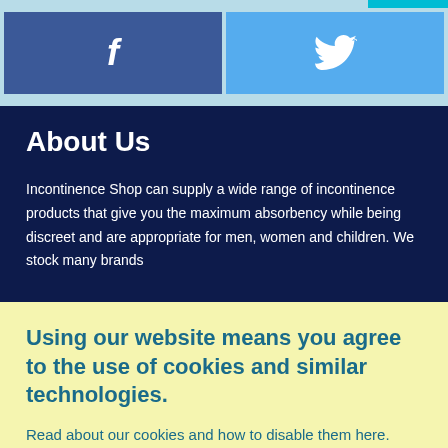[Figure (other): Social media buttons: Facebook (dark blue) and Twitter (light blue) side by side]
About Us
Incontinence Shop can supply a wide range of incontinence products that give you the maximum absorbency while being discreet and are appropriate for men, women and children. We stock many brands
Using our website means you agree to the use of cookies and similar technologies.
Read about our cookies and how to disable them here.
CLOSE